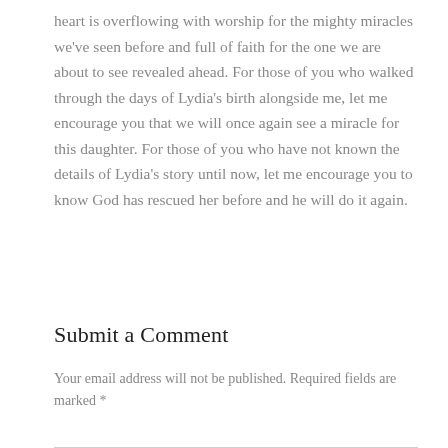heart is overflowing with worship for the mighty miracles we've seen before and full of faith for the one we are about to see revealed ahead. For those of you who walked through the days of Lydia's birth alongside me, let me encourage you that we will once again see a miracle for this daughter. For those of you who have not known the details of Lydia's story until now, let me encourage you to know God has rescued her before and he will do it again.
Submit a Comment
Your email address will not be published. Required fields are marked *